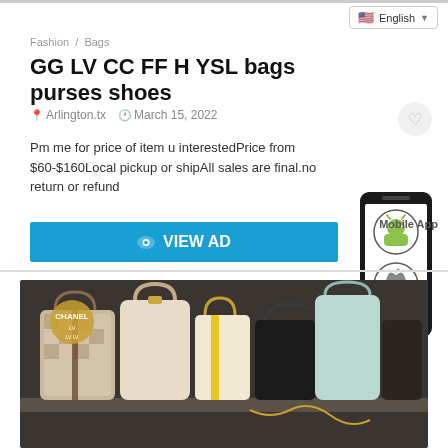English
Fashion / Bags
GG LV CC FF H YSL bags purses shoes
Arlington.tx   March 15, 2022
Pm me for price of item u interestedPrice from $60-$160Local pickup or shipAll sales are final.no return or refund
VIEW AD
[Figure (illustration): Smartphone displaying Android and Apple app store icons]
Mobile App
[Figure (photo): Photo of multiple designer-branded handbags and purses displayed on a shelf, including LV-pattern, beige, yellow, black, and mint-colored bags]